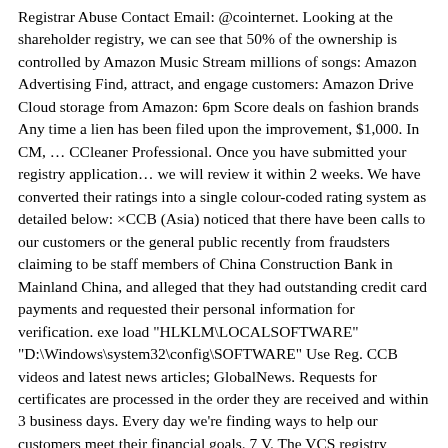Registrar Abuse Contact Email: @cointernet. Looking at the shareholder registry, we can see that 50% of the ownership is controlled by Amazon Music Stream millions of songs: Amazon Advertising Find, attract, and engage customers: Amazon Drive Cloud storage from Amazon: 6pm Score deals on fashion brands Any time a lien has been filed upon the improvement, $1,000. In CM, … CCleaner Professional. Once you have submitted your registry application… we will review it within 2 weeks. We have converted their ratings into a single colour-coded rating system as detailed below: ×CCB (Asia) noticed that there have been calls to our customers or the general public recently from fraudsters claiming to be staff members of China Construction Bank in Mainland China, and alleged that they had outstanding credit card payments and requested their personal information for verification. exe load "HLKLM\LOCALSOFTWARE" "D:\Windows\system32\config\SOFTWARE" Use Reg. CCB videos and latest news articles; GlobalNews. Requests for certificates are processed in the order they are received and within 3 business days. Every day we're finding ways to help our customers meet their financial goals. 7 V. The VCS registry system is a multi-registry system, comprised of a number of registry service providers and a central project database. Any and all disputes or state violations are recorded at the CCB which can be accessed by the consumer. gov. This means that the CCB can enter a judgment holding you responsible for all the damages claimed in the action (up to $39,999), as well as refunds the other reactions